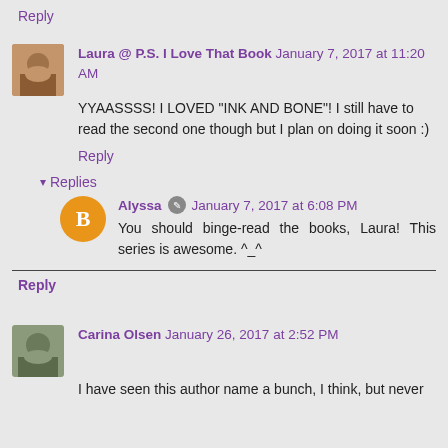Reply
Laura @ P.S. I Love That Book  January 7, 2017 at 11:20 AM
YYAASSSS! I LOVED "INK AND BONE"! I still have to read the second one though but I plan on doing it soon :)
Reply
Replies
Alyssa  January 7, 2017 at 6:08 PM
You should binge-read the books, Laura! This series is awesome. ^_^
Reply
Carina Olsen  January 26, 2017 at 2:52 PM
I have seen this author name a bunch, I think, but never